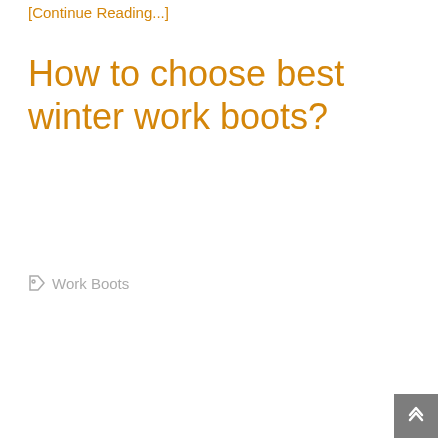[Continue Reading...]
How to choose best winter work boots?
Work Boots